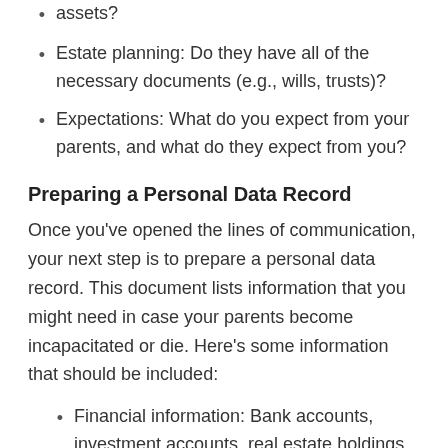assets?
Estate planning: Do they have all of the necessary documents (e.g., wills, trusts)?
Expectations: What do you expect from your parents, and what do they expect from you?
Preparing a Personal Data Record
Once you've opened the lines of communication, your next step is to prepare a personal data record. This document lists information that you might need in case your parents become incapacitated or die. Here's some information that should be included:
Financial information: Bank accounts, investment accounts, real estate holdings
Legal information: Wills, durable power of